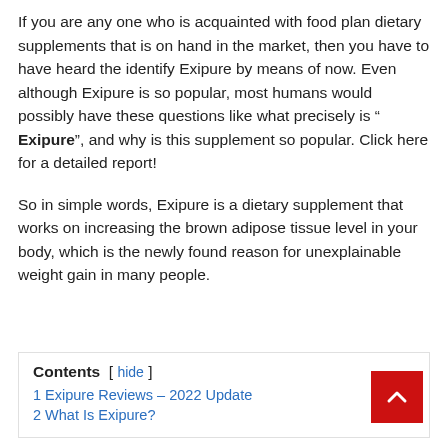If you are any one who is acquainted with food plan dietary supplements that is on hand in the market, then you have to have heard the identify Exipure by means of now. Even although Exipure is so popular, most humans would possibly have these questions like what precisely is " Exipure", and why is this supplement so popular. Click here for a detailed report!
So in simple words, Exipure is a dietary supplement that works on increasing the brown adipose tissue level in your body, which is the newly found reason for unexplainable weight gain in many people.
Contents [ hide ]
1 Exipure Reviews – 2022 Update
2 What Is Exipure?